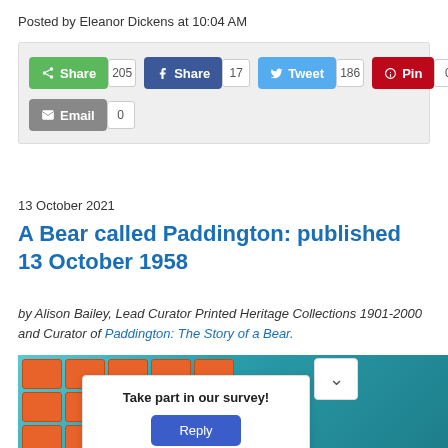Posted by Eleanor Dickens at 10:04 AM
[Figure (screenshot): Social sharing bar with buttons: Share (205), Facebook Share (17), Tweet (186), Pin (0), Email (0)]
13 October 2021
A Bear called Paddington: published 13 October 1958
by Alison Bailey, Lead Curator Printed Heritage Collections 1901-2000 and Curator of Paddington: The Story of a Bear.
[Figure (photo): Photo of orange archive boxes on shelves with teal/blue background, person visible on right side]
Take part in our survey!